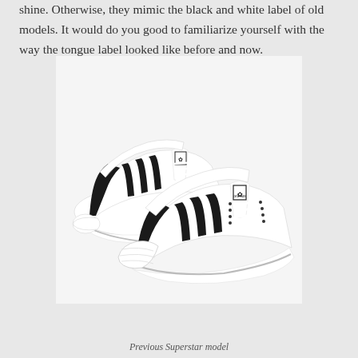shine. Otherwise, they mimic the black and white label of old models. It would do you good to familiarize yourself with the way the tongue label looked like before and now.
[Figure (photo): A pair of white Adidas Superstar sneakers with black three stripes and shell toe, shown from a three-quarter angle]
Previous Superstar model